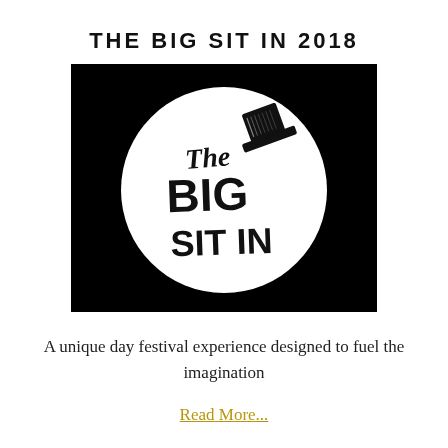THE BIG SIT IN 2018
[Figure (logo): The Big Sit In logo: black background rectangle with a white circle containing hand-drawn text 'The BIG SIT IN' and a small top hat graphic]
A unique day festival experience designed to fuel the imagination
Read More...